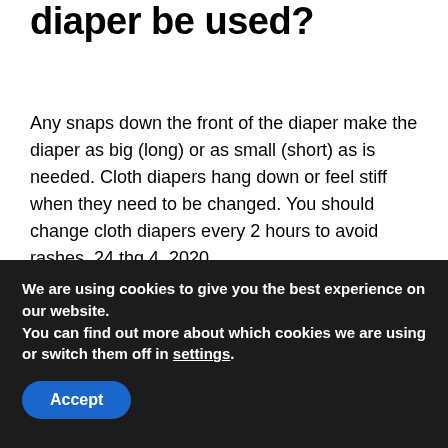diaper be used?
Any snaps down the front of the diaper make the diaper as big (long) or as small (short) as is needed. Cloth diapers hang down or feel stiff when they need to be changed. You should change cloth diapers every 2 hours to avoid rashes. 24 thg 4, 2020
How many poops a day should a newborn have?
We are using cookies to give you the best experience on our website.
You can find out more about which cookies we are using or switch them off in settings.
Accept